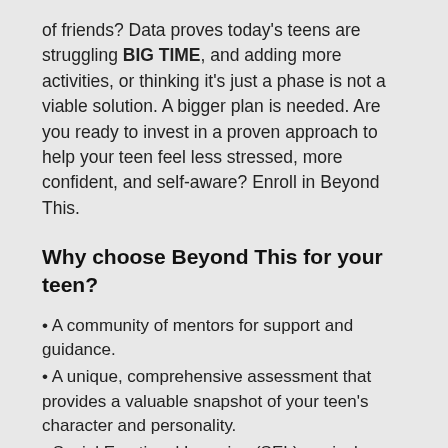of friends? Data proves today's teens are struggling BIG TIME, and adding more activities, or thinking it's just a phase is not a viable solution. A bigger plan is needed. Are you ready to invest in a proven approach to help your teen feel less stressed, more confident, and self-aware? Enroll in Beyond This.
Why choose Beyond This for your teen?
A community of mentors for support and guidance.
A unique, comprehensive assessment that provides a valuable snapshot of your teen's character and personality.
Social Emotional Learning (SEL) curriculum helps